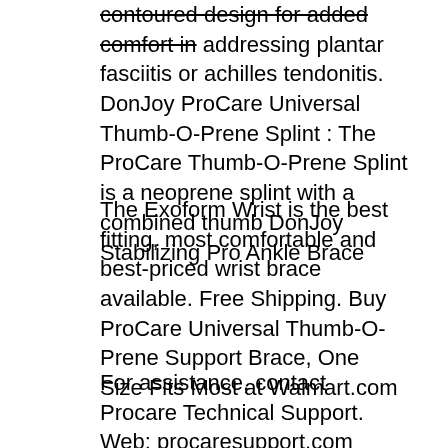contoured design for added comfort in addressing plantar fasciitis or achilles tendonitis. DonJoy ProCare Universal Thumb-O-Prene Splint : The ProCare Thumb-O-Prene Splint is a neoprene splint with a combined thumb DonJoy Stabilizing Pro Ankle Brace
The Exoform Wrist is the best fitting, most comfortable and best-priced wrist brace available. Free Shipping. Buy ProCare Universal Thumb-O-Prene Support Brace, One Size Fits Most at Walmart.com
For assistance, contact Procare Technical Support. Web: procaresupport.com Software